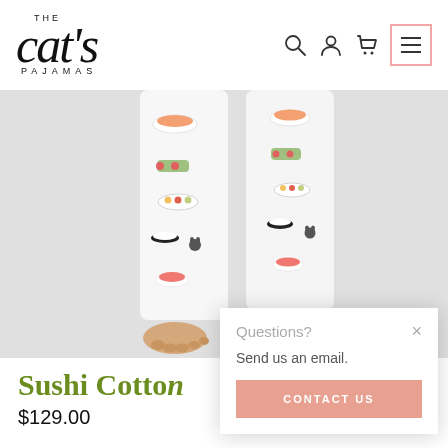THE cat's PAJAMAS
[Figure (photo): Legs of a person wearing sushi-print cotton pajama pants on a light gray background]
Sushi Cotton...
$129.00
Questions?
Send us an email.
CONTACT US